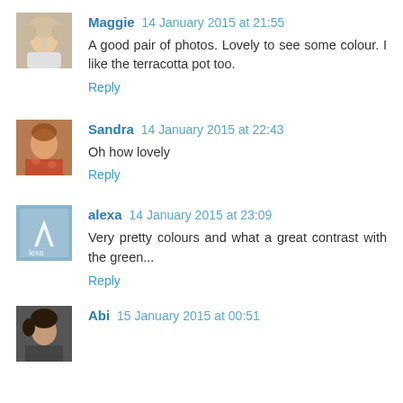[Figure (photo): Avatar photo of Maggie, a woman with curly light hair]
Maggie 14 January 2015 at 21:55
A good pair of photos. Lovely to see some colour. I like the terracotta pot too.
Reply
[Figure (photo): Avatar photo of Sandra, a woman]
Sandra 14 January 2015 at 22:43
Oh how lovely
Reply
[Figure (logo): Avatar for alexa, a square icon with 'alexa' text on light blue background]
alexa 14 January 2015 at 23:09
Very pretty colours and what a great contrast with the green...
Reply
[Figure (photo): Avatar photo of Abi]
Abi 15 January 2015 at 00:51